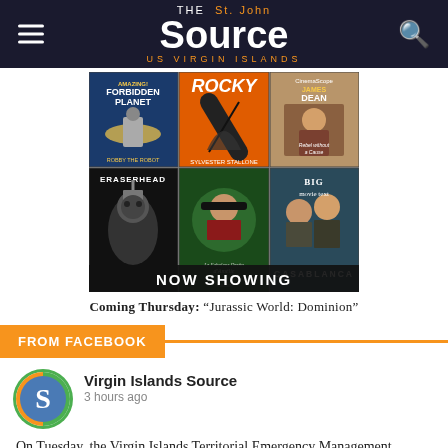The St. John Source — US VIRGIN ISLANDS
[Figure (illustration): Grid of 6 classic movie posters: Forbidden Planet, Rocky, James Dean Rebel Without a Cause, Eraserhead, Le Fabuleux Destin d'Amélie Poulain, Casablanca — with a NOW SHOWING banner at bottom]
Coming Thursday: "Jurassic World: Dominion"
FROM FACEBOOK
Virgin Islands Source
3 hours ago
On Tuesday, the Virgin Islands Territorial Emergency Management Agency (VITEMA) hosted Gov. Albert Bryan